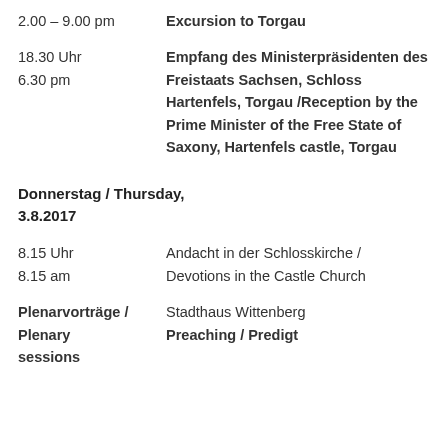2.00 – 9.00 pm	Excursion to Torgau
18.30 Uhr / 6.30 pm	Empfang des Ministerpräsidenten des Freistaats Sachsen, Schloss Hartenfels, Torgau /Reception by the Prime Minister of the Free State of Saxony, Hartenfels castle, Torgau
Donnerstag / Thursday, 3.8.2017
8.15 Uhr / 8.15 am	Andacht in der Schlosskirche / Devotions in the Castle Church
Plenarvorträge / Plenary sessions	Stadthaus Wittenberg Preaching / Predigt